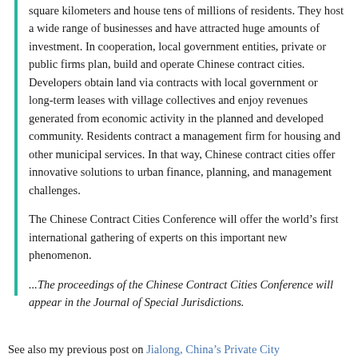square kilometers and house tens of millions of residents. They host a wide range of businesses and have attracted huge amounts of investment. In cooperation, local government entities, private or public firms plan, build and operate Chinese contract cities.  Developers obtain land via contracts with local government or long-term leases with village collectives and enjoy revenues generated from economic activity in the planned and developed community. Residents contract a management firm for housing and other municipal services. In that way, Chinese contract cities offer innovative solutions to urban finance, planning, and management challenges.
The Chinese Contract Cities Conference will offer the world's first international gathering of experts on this important new phenomenon.
...The proceedings of the Chinese Contract Cities Conference will appear in the Journal of Special Jurisdictions.
See also my previous post on Jialong, China's Private City